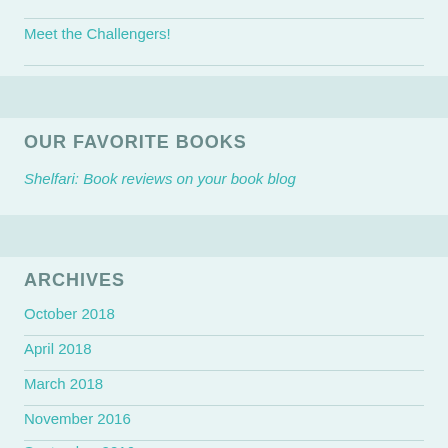Meet the Challengers!
OUR FAVORITE BOOKS
Shelfari: Book reviews on your book blog
ARCHIVES
October 2018
April 2018
March 2018
November 2016
September 2016